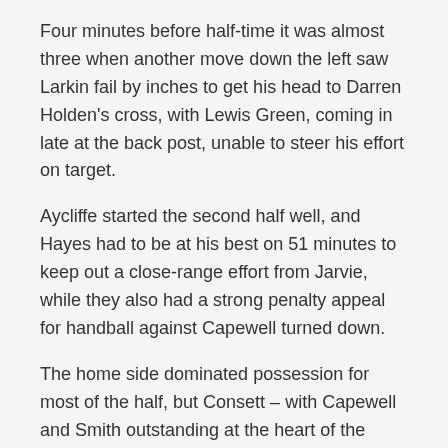Four minutes before half-time it was almost three when another move down the left saw Larkin fail by inches to get his head to Darren Holden's cross, with Lewis Green, coming in late at the back post, unable to steer his effort on target.
Aycliffe started the second half well, and Hayes had to be at his best on 51 minutes to keep out a close-range effort from Jarvie, while they also had a strong penalty appeal for handball against Capewell turned down.
The home side dominated possession for most of the half, but Consett – with Capewell and Smith outstanding at the heart of the back four – defended superbly, and the Steelmen had a couple of late chances to make the final scoreline even more emphatic.
A quick break on 65 minutes saw Heslop pick out Carr's run in midfield with a superb ball into space, and the skipper got all the way to the edge of the box before unleashing a shot which was deflected behind for a corner.
With four minutes to go, Lewis Green did well to cut the ball back from the byline, but sub Carl Lawson could only head into the...